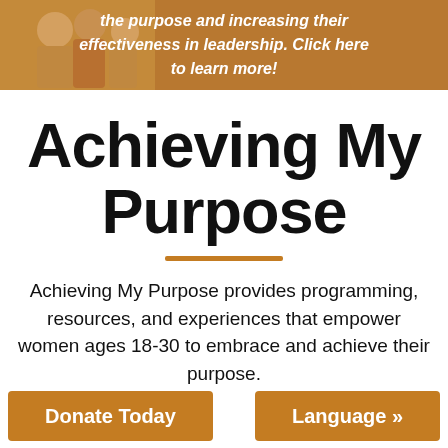[Figure (illustration): Banner image with illustrated figures and text overlay: 'the purpose and increasing their effectiveness in leadership. Click here to learn more!']
Achieving My Purpose
Achieving My Purpose provides programming, resources, and experiences that empower women ages 18-30 to embrace and achieve their purpose.
Donate Today
Language »